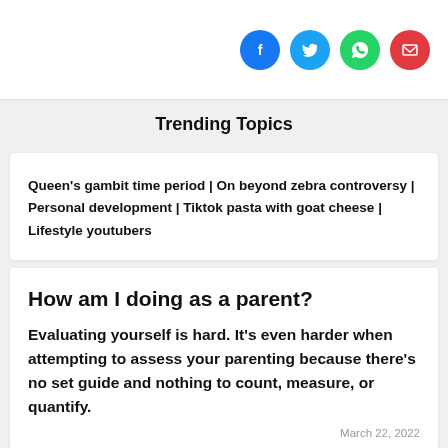[Figure (infographic): Four social media share buttons: Facebook (blue circle), Twitter (light blue circle), WhatsApp (green circle), Email (red circle)]
Trending Topics
Queen's gambit time period | On beyond zebra controversy | Personal development | Tiktok pasta with goat cheese | Lifestyle youtubers
How am I doing as a parent?
Evaluating yourself is hard. It's even harder when attempting to assess your parenting because there's no set guide and nothing to count, measure, or quantify.
March 22, 2022